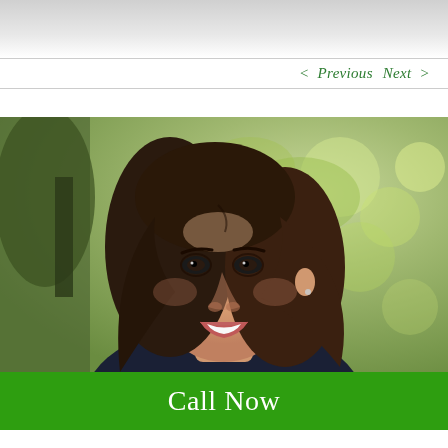[Figure (photo): Gray gradient header bar at top of page]
< Previous   Next >
[Figure (photo): Portrait photo of a smiling woman with dark hair, outdoors with blurred green trees in background]
Call Now